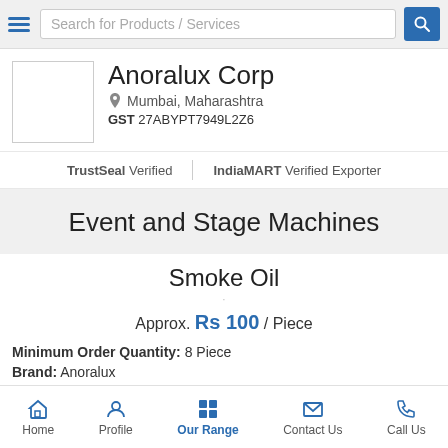Search for Products / Services
Anoralux Corp
Mumbai, Maharashtra
GST 27ABYPT7949L2Z6
TrustSeal Verified | IndiaMART Verified Exporter
Event and Stage Machines
Smoke Oil
Approx. Rs 100 / Piece
Minimum Order Quantity: 8 Piece
Brand: Anoralux
Home  Profile  Our Range  Contact Us  Call Us